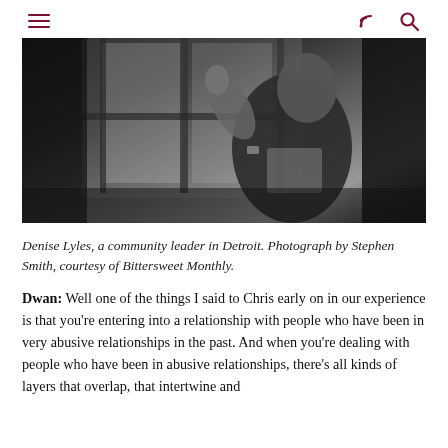≡   ⌖  🔍
[Figure (photo): Black and white photograph of Denise Lyles, a community leader in Detroit, raising her hand near a window]
Denise Lyles, a community leader in Detroit. Photograph by Stephen Smith, courtesy of Bittersweet Monthly.
Dwan: Well one of the things I said to Chris early on in our experience is that you're entering into a relationship with people who have been in very abusive relationships in the past. And when you're dealing with people who have been in abusive relationships, there's all kinds of layers that overlap, that intertwine and